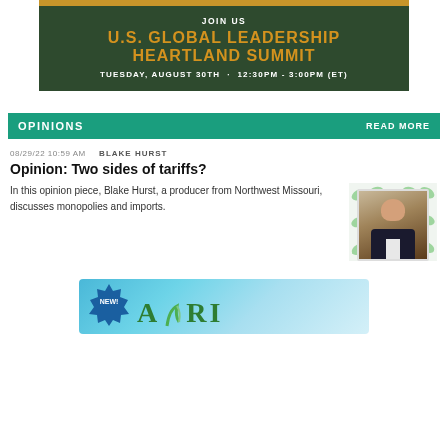[Figure (infographic): Dark green banner for U.S. Global Leadership Heartland Summit with gold accent bar on top. Text reads JOIN US, U.S. GLOBAL LEADERSHIP HEARTLAND SUMMIT, TUESDAY, AUGUST 30TH · 12:30PM - 3:00PM (ET)]
OPINIONS   READ MORE
08/29/22 10:59 AM   BLAKE HURST
Opinion: Two sides of tariffs?
In this opinion piece, Blake Hurst, a producer from Northwest Missouri, discusses monopolies and imports.
[Figure (photo): Headshot photo of Blake Hurst, a man with glasses, against a decorative leaf background]
[Figure (infographic): Bottom banner ad with teal/blue gradient background, NEW! badge sticker on left, and green leaf logo text partially visible]